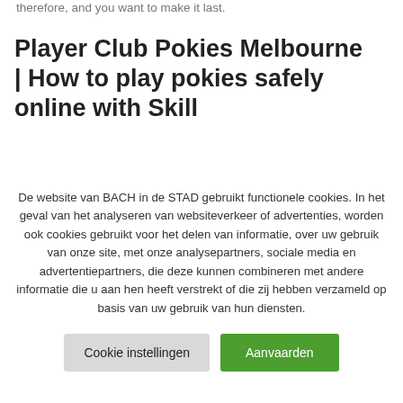therefore, and you want to make it last.
Player Club Pokies Melbourne | How to play pokies safely online with Skill
De website van BACH in de STAD gebruikt functionele cookies. In het geval van het analyseren van websiteverkeer of advertenties, worden ook cookies gebruikt voor het delen van informatie, over uw gebruik van onze site, met onze analysepartners, sociale media en advertentiepartners, die deze kunnen combineren met andere informatie die u aan hen heeft verstrekt of die zij hebben verzameld op basis van uw gebruik van hun diensten.
Cookie instellingen
Aanvaarden